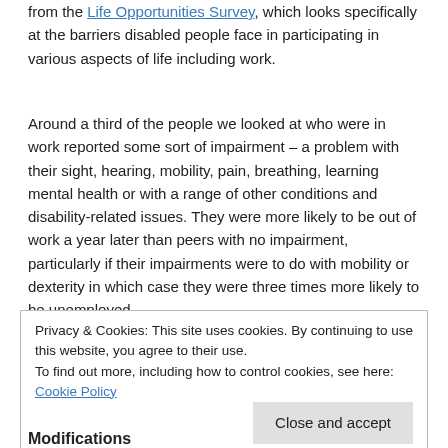from the Life Opportunities Survey , which looks specifically at the barriers disabled people face in participating in various aspects of life including work.
Around a third of the people we looked at who were in work reported some sort of impairment – a problem with their sight, hearing, mobility, pain, breathing, learning mental health or with a range of other conditions and disability-related issues. They were more likely to be out of work a year later than peers with no impairment, particularly if their impairments were to do with mobility or dexterity in which case they were three times more likely to be unemployed.
Privacy & Cookies: This site uses cookies. By continuing to use this website, you agree to their use.
To find out more, including how to control cookies, see here: Cookie Policy
Modifications